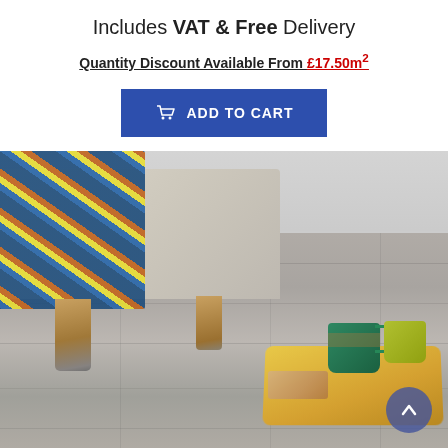Includes VAT & Free Delivery
Quantity Discount Available From £17.50m²
ADD TO CART
[Figure (photo): Photo of a grey wood-effect laminate floor with the base of an upholstered footstool/ottoman, a colourful fringed blanket draped over it, wooden tapered legs, and a wooden tray holding two mugs and biscuits on the floor. A scroll-to-top button is visible in the lower right corner.]